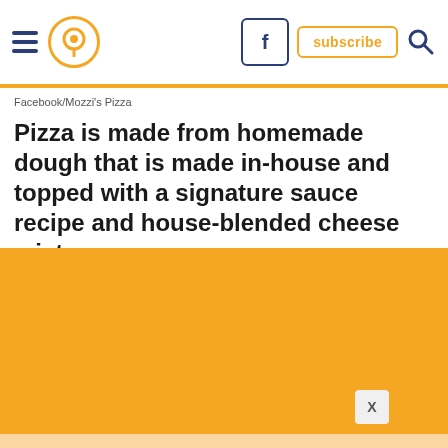Navigation header with hamburger menu, location pin, Facebook button, subscribe button, and search icon
Facebook/Mozzi's Pizza
Pizza is made from homemade dough that is made in-house and topped with a signature sauce recipe and house-blended cheese mixture.
[Figure (other): Orange advertisement area with close (X) button]